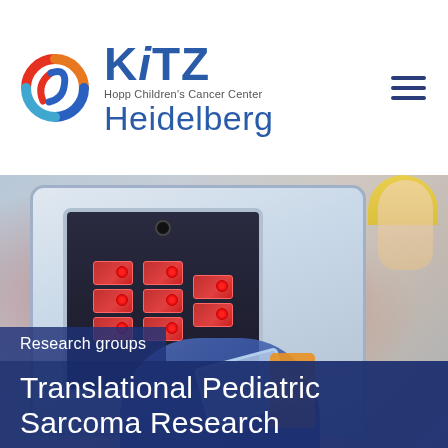[Figure (logo): KiTZ Hopp Children's Cancer Center Heidelberg logo with circular arrow icon in red, orange, and blue]
[Figure (photo): Laboratory incubator with red-capped cell culture flasks inside, researcher in blue gloves holding a petri dish, orange bottle and partial face of researcher visible in background]
Research groups
Translational Pediatric Sarcoma Research